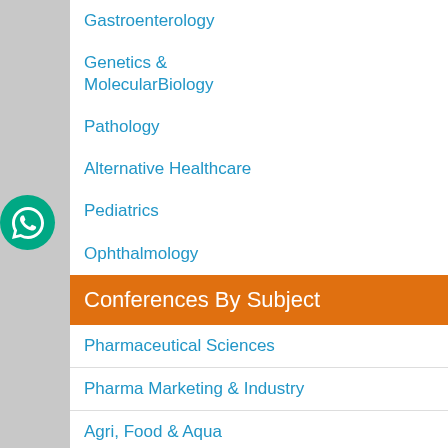Gastroenterology
Genetics & MolecularBiology
Pathology
Alternative Healthcare
Pediatrics
Ophthalmology
Medical Ethics & Health Policies
Palliativecare
Reproductive Medicine & Women Healthcare
Surgery
Radiology
Conferences By Subject
Pharmaceutical Sciences
Pharma Marketing & Industry
Agri, Food & Aqua
Nutrition
Physics & Materials Science
Environmental Science
EEE & Engineering